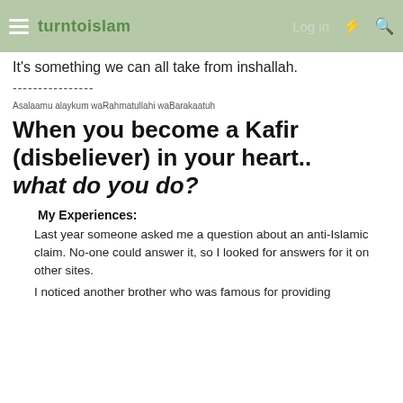turntoislam — Log in
It's something we can all take from inshallah.
----------------
Asalaamu alaykum waRahmatullahi waBarakaatuh
When you become a Kafir (disbeliever) in your heart.. what do you do?
My Experiences:
Last year someone asked me a question about an anti-Islamic claim. No-one could answer it, so I looked for answers for it on other sites.
I noticed another brother who was famous for providing